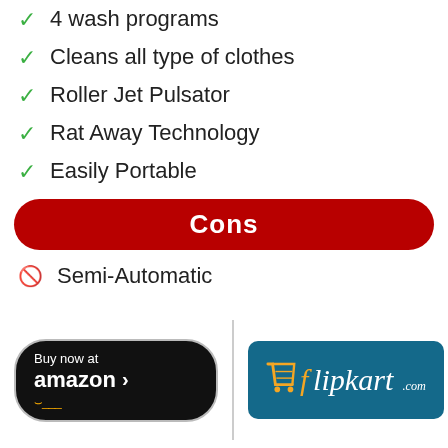4 wash programs
Cleans all type of clothes
Roller Jet Pulsator
Rat Away Technology
Easily Portable
Cons
Semi-Automatic
[Figure (logo): Buy now at amazon button with Amazon smile logo]
[Figure (logo): Flipkart.com logo button with cart icon]